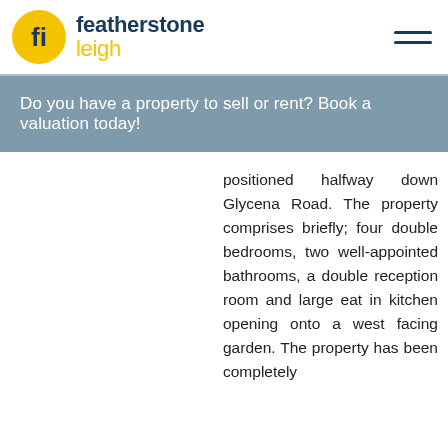featherstone leigh
Do you have a property to sell or rent? Book a valuation today!
positioned halfway down Glycena Road. The property comprises briefly; four double bedrooms, two well-appointed bathrooms, a double reception room and large eat in kitchen opening onto a west facing garden. The property has been completely